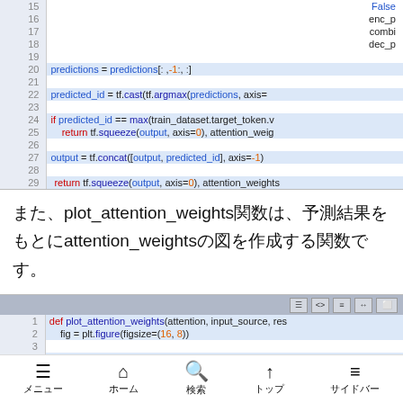[Figure (screenshot): Code block showing Python lines 15-29 with syntax highlighting. Lines include: predictions = predictions[:,-1:,:], predicted_id = tf.cast(tf.argmax(predictions, axis=..., if predicted_id == max(train_dataset.target_token.v..., return tf.squeeze(output, axis=0), attention_weig..., output = tf.concat([output, predicted_id], axis=-1), return tf.squeeze(output, axis=0), attention_weights]
また、plot_attention_weights関数は、予測結果をもとにattention_weightsの図を作成する関数です。
[Figure (screenshot): Code block showing Python lines 1-4: def plot_attention_weights(attention, input_source, res..., fig = plt.figure(figsize=(16, 8)), sentence = tf.cast(input_source, tf.int64)]
メニュー　ホーム　検索　トップ　サイドバー